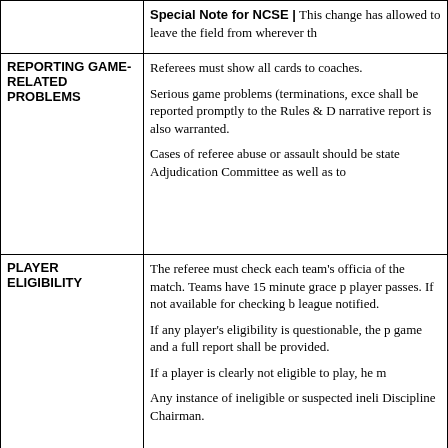| Category | Description |
| --- | --- |
|  | Special Note for NCSE | This change has allowed to leave the field from wherever th |
| REPORTING GAME-RELATED PROBLEMS | Referees must show all cards to coaches.

Serious game problems (terminations, exce shall be reported promptly to the Rules & D narrative report is also warranted.

Cases of referee abuse or assault should be state Adjudication Committee as well as to |
| PLAYER ELIGIBILITY | The referee must check each team's officia of the match. Teams have 15 minute grace p player passes. If not available for checking b league notified.

If any player's eligibility is questionable, the p game and a full report shall be provided.

If a player is clearly not eligible to play, he m

Any instance of ineligible or suspected ineli Discipline Chairman. |